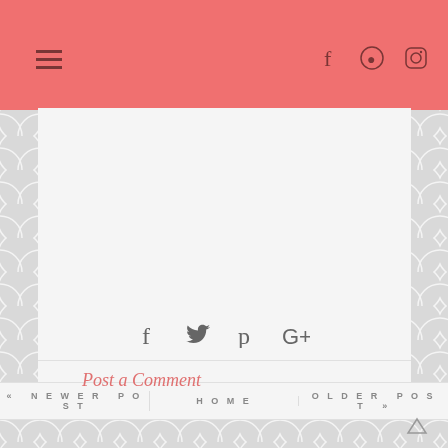Navigation header with menu icon and social icons (Facebook, Pinterest, Instagram)
[Figure (infographic): Social share icons: Facebook (f), Twitter (bird), Pinterest (P), Google+ (G+) centered on a light gray background]
Post a Comment
« NEWER POST   HOME   OLDER POST »